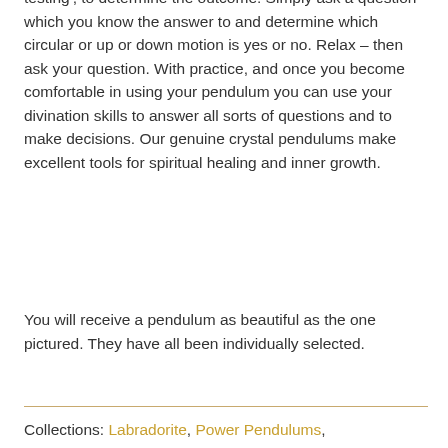testing', to determine the outcome. Simply ask a question which you know the answer to and determine which circular or up or down motion is yes or no. Relax – then ask your question. With practice, and once you become comfortable in using your pendulum you can use your divination skills to answer all sorts of questions and to make decisions. Our genuine crystal pendulums make excellent tools for spiritual healing and inner growth.
You will receive a pendulum as beautiful as the one pictured. They have all been individually selected.
Collections: Labradorite, Power Pendulums,